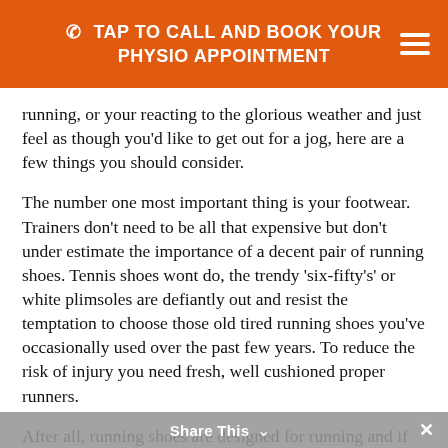TAP TO CALL AND BOOK YOUR PHYSIO APPOINTMENT
running, or your reacting to the glorious weather and just feel as though you'd like to get out for a jog, here are a few things you should consider.
The number one most important thing is your footwear. Trainers don't need to be all that expensive but don't under estimate the importance of a decent pair of running shoes. Tennis shoes wont do, the trendy 'six-fifty's' or white plimsoles are defiantly out and resist the temptation to choose those old tired running shoes you've occasionally used over the past few years. To reduce the risk of injury you need fresh, well cushioned proper runners.
After all, running shoes are designed for running and if you're a beginner your legs are going to need all the protection they can get. My advice if your buying, don't go for the big name obvious brands, they might
Share This ∨ ✕